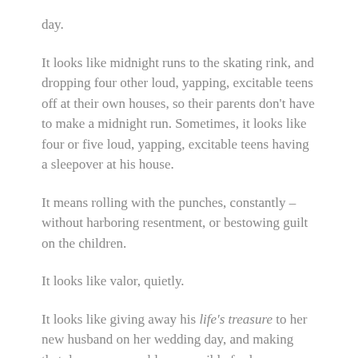day.
It looks like midnight runs to the skating rink, and dropping four other loud, yapping, excitable teens off at their own houses, so their parents don't have to make a midnight run. Sometimes, it looks like four or five loud, yapping, excitable teens having a sleepover at his house.
It means rolling with the punches, constantly – without harboring resentment, or bestowing guilt on the children.
It looks like valor, quietly.
It looks like giving away his life's treasure to her new husband on her wedding day, and making that day as memorable as possible for her.
It looks like buying class rings that he knows will be worn